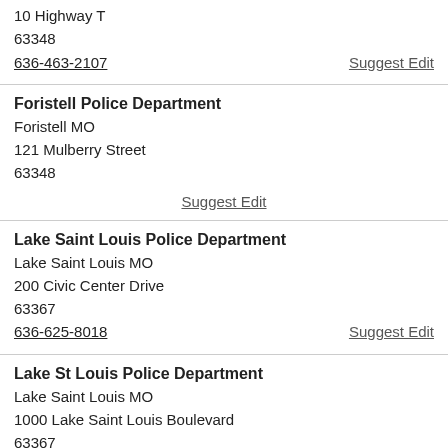10 Highway T
63348
636-463-2107
Suggest Edit
Foristell Police Department
Foristell MO
121 Mulberry Street
63348
Suggest Edit
Lake Saint Louis Police Department
Lake Saint Louis MO
200 Civic Center Drive
63367
636-625-8018
Suggest Edit
Lake St Louis Police Department
Lake Saint Louis MO
1000 Lake Saint Louis Boulevard
63367